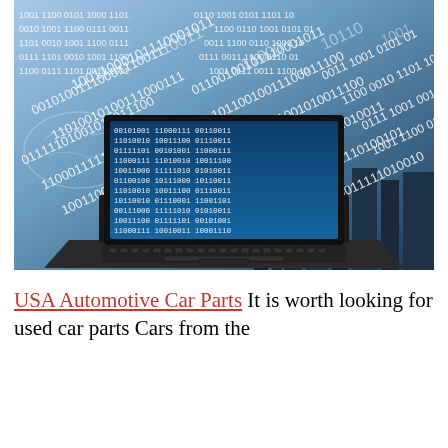[Figure (photo): A laptop computer with a screen displaying binary code (0s and 1s), overlaid on a city skyline background and a world map, with streams of binary digits filling the entire image in blue and white tones.]
USA Automotive Car Parts It is worth looking for used car parts Cars from the